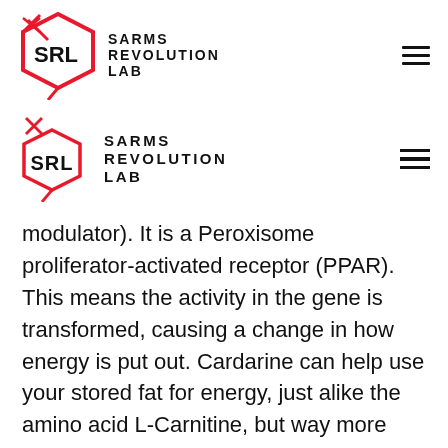SARMS REVOLUTION LAB
modulator). It is a Peroxisome proliferator-activated receptor (PPAR). This means the activity in the gene is transformed, causing a change in how energy is put out. Cardarine can help use your stored fat for energy, just alike the amino acid L-Carnitine, but way more efficiently. This product helps speeding up the fat loss process. With the increased stamina and performance, you will be burning a